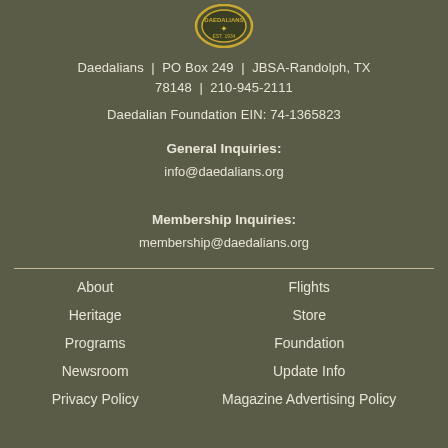[Figure (logo): Daedalians organization circular emblem/logo badge at top center]
Daedalians  |  PO Box 249  |  JBSA-Randolph, TX 78148  |  210-945-2111
Daedalian Foundation EIN: 74-1365823
General Inquiries:
info@daedalians.org
Membership Inquiries:
membership@daedalians.org
About
Flights
Heritage
Store
Programs
Foundation
Newsroom
Update Info
Privacy Policy
Magazine Advertising Policy